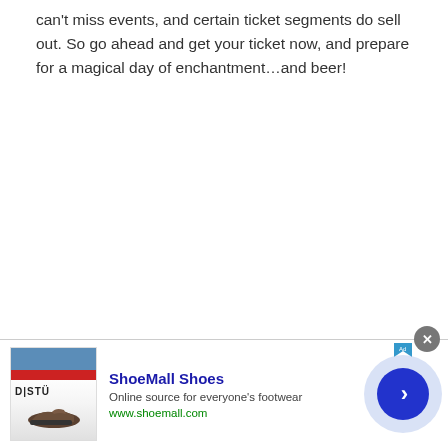can't miss events, and certain ticket segments do sell out. So go ahead and get your ticket now, and prepare for a magical day of enchantment…and beer!
[Figure (screenshot): Advertisement banner for ShoeMall Shoes. Contains a shoe store website screenshot thumbnail on the left showing the D|STÜ logo and boots, followed by the ad text 'ShoeMall Shoes', 'Online source for everyone's footwear', 'www.shoemall.com', a close button (X), an ad indicator arrow, and a circular blue arrow button on the right.]